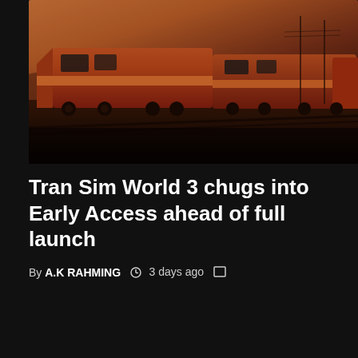[Figure (photo): A train locomotive in orange/red BNSF-style livery photographed at dusk or dawn with a warm orange sky. The train is moving along tracks with a dark foreground ground and dramatic sky behind.]
Tran Sim World 3 chugs into Early Access ahead of full launch
By A.K RAHMING  3 days ago